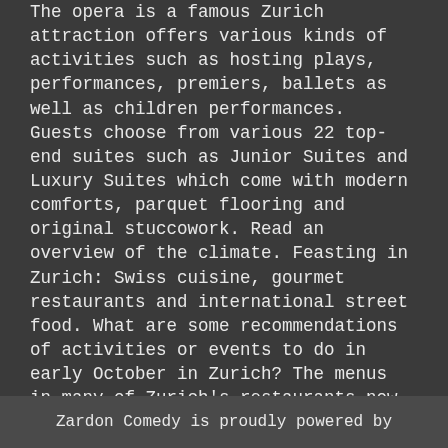The opera is a famous Zurich attraction offers various kinds of activities such as hosting plays, performances, premiers, ballets as well as children performances. Guests choose from various 22 top-end suites such as Junior Suites and Luxury Suites which come with modern comforts, parquet flooring and original stuccowork. Read an overview of the climate. Feasting in Zurich: Swiss cuisine, gourmet restaurants and international street food. What are some recommendations of activities or events to do in early October in Zurich? The menus in many of Zurich's restaurants now feature regional specialties such as wine, cheese, and game. Impressionists, old masters and contemporary art also prominently feature here. Often, the daytime temperatures in September are still pleasantly warm. Depending on what kind of
Zardon Comedy is proudly powered by